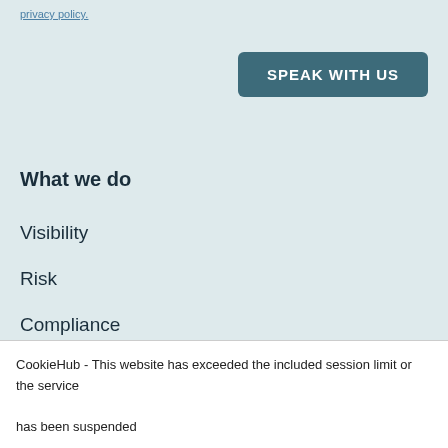privacy policy.
SPEAK WITH US
What we do
Visibility
Risk
Compliance
Insurance
CookieHub - This website has exceeded the included session limit or the service has been suspended
Support FAQs